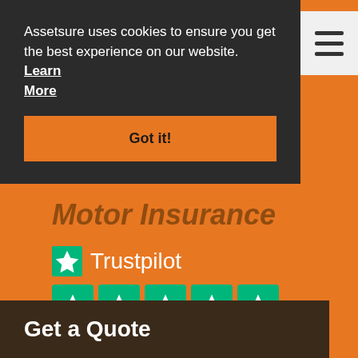Assetsure uses cookies to ensure you get the best experience on our website. Learn More
Got it!
[Figure (screenshot): Trustpilot rating widget showing 5 green star boxes and TrustScore 4.8 | 2,043 reviews on orange background]
Get a Quote